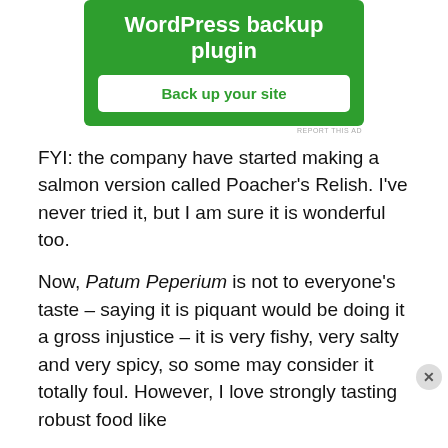[Figure (screenshot): Green advertisement banner for WordPress backup plugin with 'Back up your site' button and 'REPORT THIS AD' text]
FYI: the company have started making a salmon version called Poacher’s Relish. I’ve never tried it, but I am sure it is wonderful too.
Now, Patum Peperium is not to everyone’s taste – saying it is piquant would be doing it a gross injustice – it is very fishy, very salty and very spicy, so some may consider it totally foul. However, I love strongly tasting robust food like
Advertisements
[Figure (screenshot): Macy's advertisement: KISS BORING LIPS GOODBYE with SHOP NOW button and Macy's star logo on red background with woman's face]